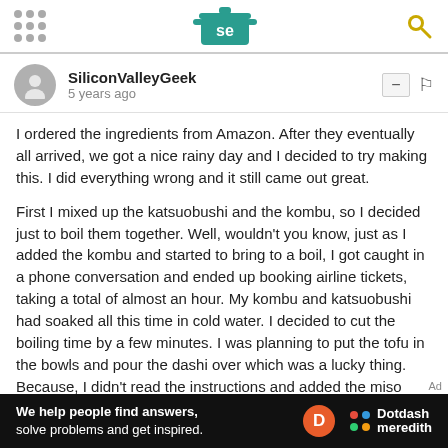Serious Eats - se logo header
SiliconValleyGeek
5 years ago
I ordered the ingredients from Amazon. After they eventually all arrived, we got a nice rainy day and I decided to try making this. I did everything wrong and it still came out great.
First I mixed up the katsuobushi and the kombu, so I decided just to boil them together. Well, wouldn't you know, just as I added the kombu and started to bring to a boil, I got caught in a phone conversation and ended up booking airline tickets, taking a total of almost an hour. My kombu and katsuobushi had soaked all this time in cold water. I decided to cut the boiling time by a few minutes. I was planning to put the tofu in the bowls and pour the dashi over which was a lucky thing. Because, I didn't read the instructions and added the miso directly to the pot without mixing. I got a whisk and stirred and it all came together.
[Figure (logo): Dotdash Meredith advertisement banner at bottom of page]